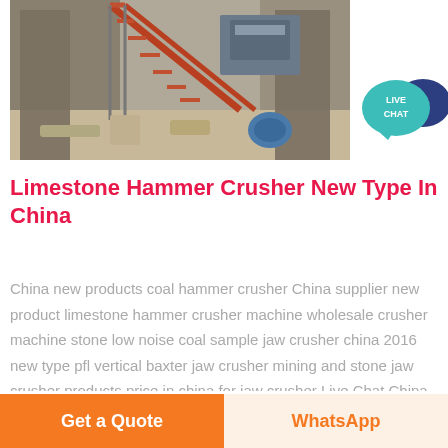[Figure (photo): Industrial hammer crusher machine installation site showing metal staircase, concrete pillars, and industrial equipment]
[Figure (infographic): Live Chat speech bubble icon in teal/blue with dark blue background bubble and white text 'LIVE CHAT']
Limestone Hammer Crusher New Type In China
China new products coal hammer crusher China supplier new product limestone hammer crusher machine wholesale crusher machine stone low noise coal sample jaw crusher china 2016 new type pfl vertical baxter jaw crusher mining and stone jaw crusher products price in china for jaw crusher Live Chat China stone crusher
Get a Quote
WhatsApp